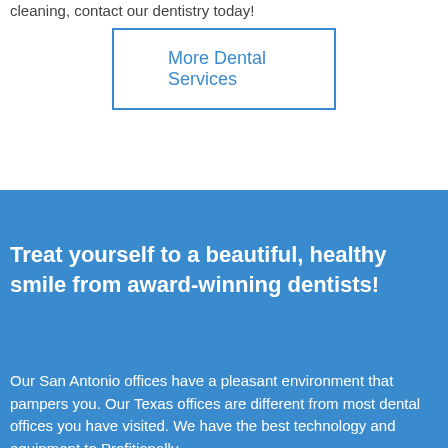cleaning, contact our dentistry today!
More Dental Services
Treat yourself to a beautiful, healthy smile from award-winning dentists!
Our San Antonio offices have a pleasant environment that pampers you. Our Texas offices are different from most dental offices you have visited. We have the best technology and equipment...